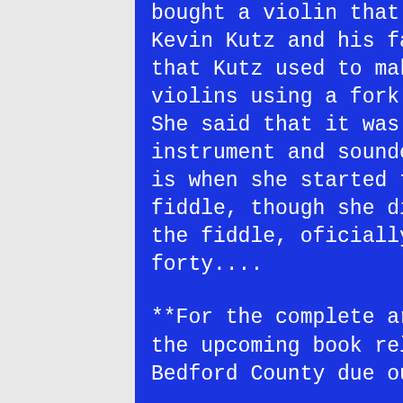bought a violin that was handmade by Kevin Kutz and his father.  Lizzie said that Kutz used to make solid body violins using a fork for the tailpiece.  She said that it was a very unique instrument and sounded great.  So, that is when she started tinkering with the fiddle, though she didn't start playing the fiddle, oficially until she was forty....
**For the complete article, check out the upcoming book release They Came From Bedford County due out soon.
**Information for this article was obtained through a phone interview with Lizzie Yeehaw